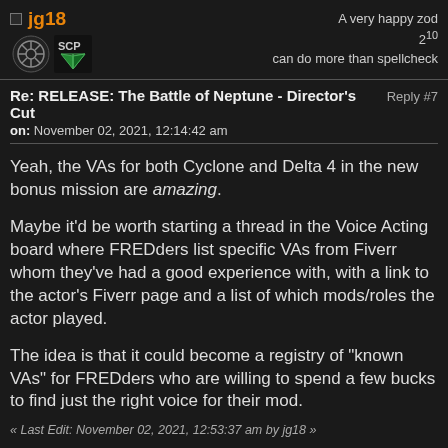jg18 | A very happy zod 2^10 | can do more than spellcheck
Re: RELEASE: The Battle of Neptune - Director's Cut | Reply #7 | on: November 02, 2021, 12:14:42 am
Yeah, the VAs for both Cyclone and Delta 4 in the new bonus mission are amazing.
Maybe it'd be worth starting a thread in the Voice Acting board where FREDders list specific VAs from Fiverr whom they've had a good experience with, with a link to the actor's Fiverr page and a list of which mods/roles the actor played.
The idea is that it could become a registry of "known VAs" for FREDders who are willing to spend a few bucks to find just the right voice for their mod.
« Last Edit: November 02, 2021, 12:53:37 am by jg18 »